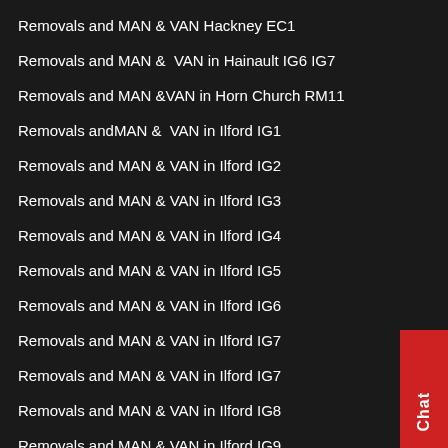Removals and MAN & VAN Hackney EC1
Removals and MAN &  VAN in Hainault IG6 IG7
Removals and MAN &VAN in Horn Church RM11
Removals andMAN &  VAN in Ilford IG1
Removals and MAN & VAN in Ilford IG2
Removals and MAN & VAN in Ilford IG3
Removals and MAN & VAN in Ilford IG4
Removals and MAN & VAN in Ilford IG5
Removals and MAN & VAN in Ilford IG6
Removals and MAN & VAN in Ilford IG7
Removals and MAN & VAN in Ilford IG7
Removals and MAN & VAN in Ilford IG8
Removals and MAN & VAN in Ilford IG9